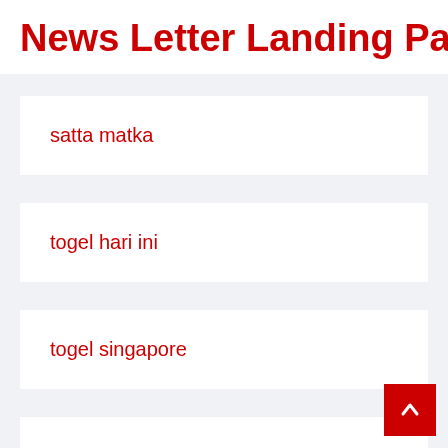News Letter Landing Pag
satta matka
togel hari ini
togel singapore
shio togel